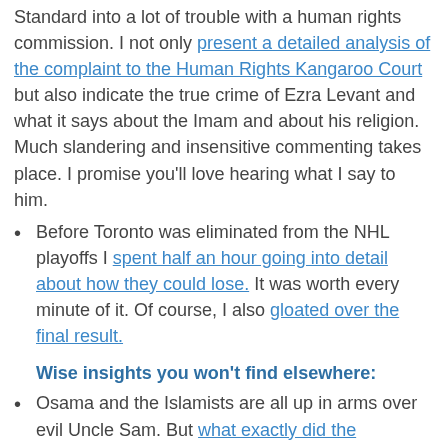Standard into a lot of trouble with a human rights commission. I not only present a detailed analysis of the complaint to the Human Rights Kangaroo Court but also indicate the true crime of Ezra Levant and what it says about the Imam and about his religion. Much slandering and insensitive commenting takes place. I promise you'll love hearing what I say to him.
Before Toronto was eliminated from the NHL playoffs I spent half an hour going into detail about how they could lose. It was worth every minute of it. Of course, I also gloated over the final result.
Wise insights you won't find elsewhere:
Osama and the Islamists are all up in arms over evil Uncle Sam. But what exactly did the Americans do in the first place to cause this resentment in the Middle East?
Ed Stelmach was for a while a forerunner in the PC leadership race. Odd that he was pegged as